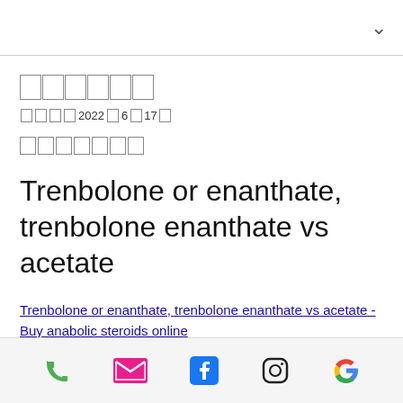██████
████ 2022年6月17日
███████
Trenbolone or enanthate, trenbolone enanthate vs acetate
Trenbolone or enanthate, trenbolone enanthate vs acetate - Buy anabolic steroids online
[phone] [email] [facebook] [instagram] [google]